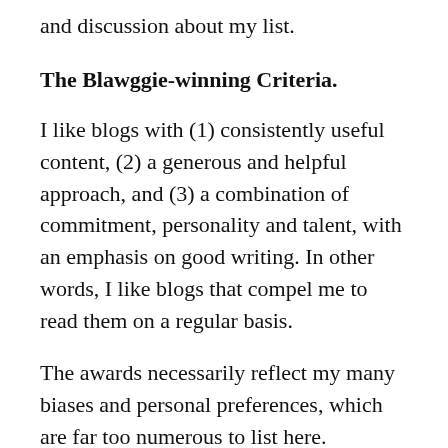and discussion about my list.
The Blawggie-winning Criteria.
I like blogs with (1) consistently useful content, (2) a generous and helpful approach, and (3) a combination of commitment, personality and talent, with an emphasis on good writing. In other words, I like blogs that compel me to read them on a regular basis.
The awards necessarily reflect my many biases and personal preferences, which are far too numerous to list here.
It's very important to remember that the awards also reflect the blawgs I actually read. While I read a lot of law-related blogs, the